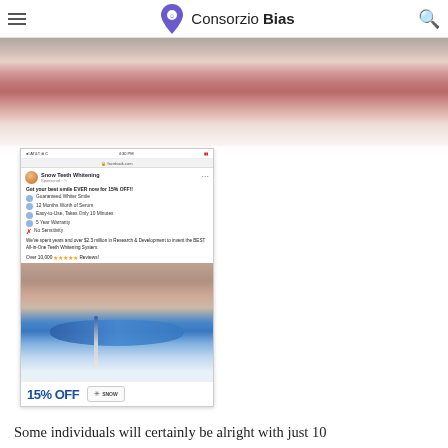Consorzio Bias
[Figure (photo): Close-up photo of a person's lips and lower face]
[Figure (screenshot): Facebook ad screenshot for Snow Teeth Whitening with 15% OFF promotion, featuring product image with teeth whitening tray and promo text]
Some individuals will certainly be alright with just 10